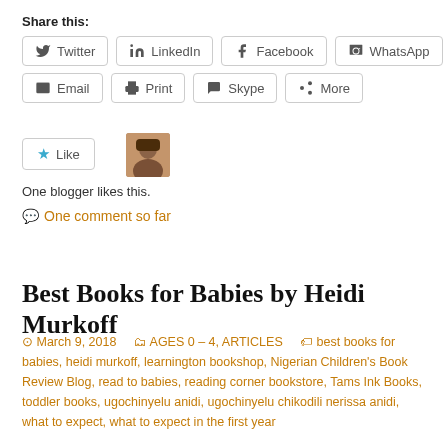Share this:
Twitter | LinkedIn | Facebook | WhatsApp | Email | Print | Skype | More
[Figure (other): Like button with star icon and blogger avatar thumbnail]
One blogger likes this.
One comment so far
Best Books for Babies by Heidi Murkoff
March 9, 2018   AGES 0 – 4, ARTICLES   best books for babies, heidi murkoff, learnington bookshop, Nigerian Children's Book Review Blog, read to babies, reading corner bookstore, Tams Ink Books, toddler books, ugochinyelu anidi, ugochinyelu chikodili nerissa anidi, what to expect, what to expect in the first year